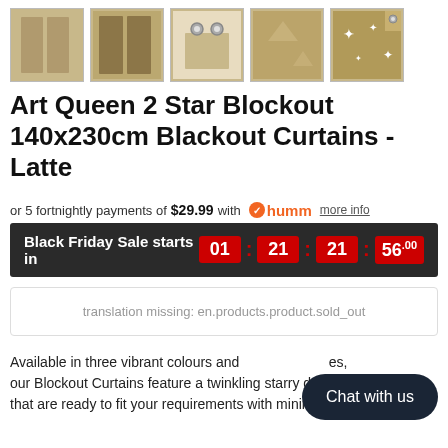[Figure (photo): Row of 5 product thumbnail images showing latte/beige blackout curtains from different angles]
Art Queen 2 Star Blockout 140x230cm Blackout Curtains - Latte
or 5 fortnightly payments of $29.99 with humm more info
Black Friday Sale starts in 01 : 21 : 21 : 56.00
translation missing: en.products.product.sold_out
Available in three vibrant colours and sizes, our Blockout Curtains feature a twinkling starry design that are ready to fit your requirements with minimum